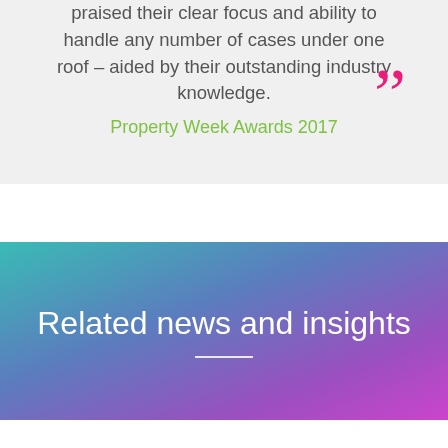praised their clear focus and ability to handle any number of cases under one roof – aided by their outstanding industry knowledge.
”
Property Week Awards 2017
Related news and insights